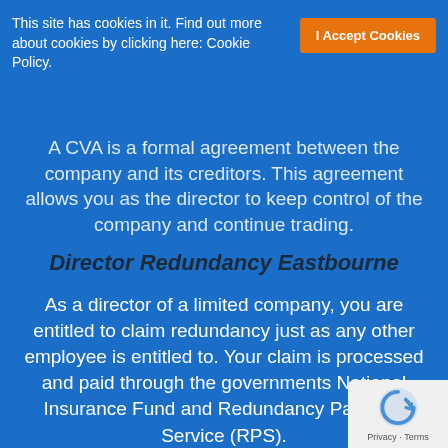This site has cookies in it. Find out more about cookies by clicking here: Cookie Policy.
A CVA is a formal agreement between the company and its creditors. This agreement allows you as the director to keep control of the company and continue trading.
Director Redundancy Eastbourne
As a director of a limited company, you are entitled to claim redundancy just as any other employee is entitled to. Your claim is processed and paid through the governments National Insurance Fund and Redundancy Payment Service (RPS).